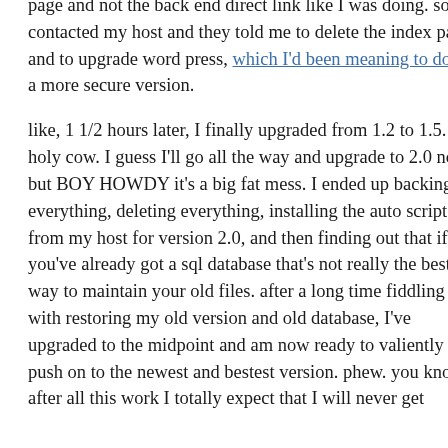page and not the back end direct link like I was doing. so I contacted my host and they told me to delete the index page and to upgrade word press, which I'd been meaning to do, to a more secure version.

like, 1 1/2 hours later, I finally upgraded from 1.2 to 1.5. holy cow. I guess I'll go all the way and upgrade to 2.0 now, but BOY HOWDY it's a big fat mess. I ended up backing up everything, deleting everything, installing the auto script from my host for version 2.0, and then finding out that if you've already got a sql database that's not really the best way to maintain your old files. after a long time fiddling with restoring my old version and old database, I've upgraded to the midpoint and am now ready to valiently push on to the newest and bestest version. phew. you know, after all this work I totally expect that I will never get